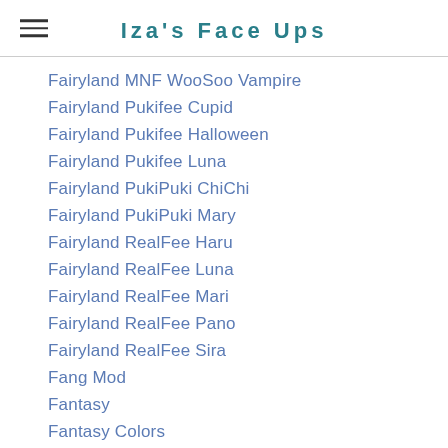Iza's Face Ups
Fairyland MNF WooSoo Vampire
Fairyland Pukifee Cupid
Fairyland Pukifee Halloween
Fairyland Pukifee Luna
Fairyland PukiPuki ChiChi
Fairyland PukiPuki Mary
Fairyland RealFee Haru
Fairyland RealFee Luna
Fairyland RealFee Mari
Fairyland RealFee Pano
Fairyland RealFee Sira
Fang Mod
Fantasy
Fantasy Colors
Fantasy Doll
Fantasy Doll Amber
Fantasy Doll Charlotte